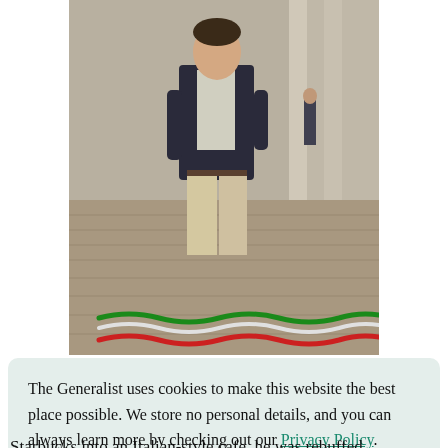[Figure (photo): A man in a dark blazer and khaki trousers standing in an Italian piazza with cobblestones. Italian flag-colored wavy lines (green and red) drawn beneath the photo. Handwritten caption reads: SCHULTE FELL IN LOVE WITH ITALY'S COFFEE CULTURE]
The Generalist uses cookies to make this website the best place possible. We store no personal details, and you can always learn more by checking out our Privacy Policy.
Deny
Accept
Starbucks into an Italian-style cafe, he was rebuffed.